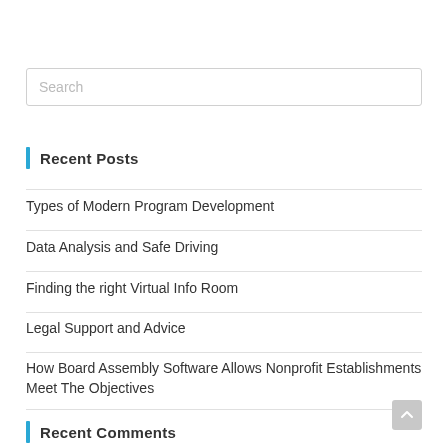Search
Recent Posts
Types of Modern Program Development
Data Analysis and Safe Driving
Finding the right Virtual Info Room
Legal Support and Advice
How Board Assembly Software Allows Nonprofit Establishments Meet The Objectives
Recent Comments